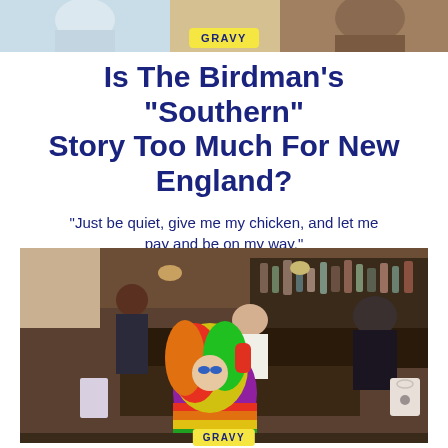[Figure (photo): Top banner image showing illustrated/artistic figures with warm tones, partially visible at the top of the page]
GRAVY
Is The Birdman’s “Southern” Story Too Much For New England?
“Just be quiet, give me my chicken, and let me pay and be on my way.”
[Figure (photo): Interior of a bar/restaurant with a drag performer in a colorful rainbow outfit and wig posing in the foreground, with patrons seated at the bar in the background. A tote bag with a logo is visible on the right.]
GRAVY